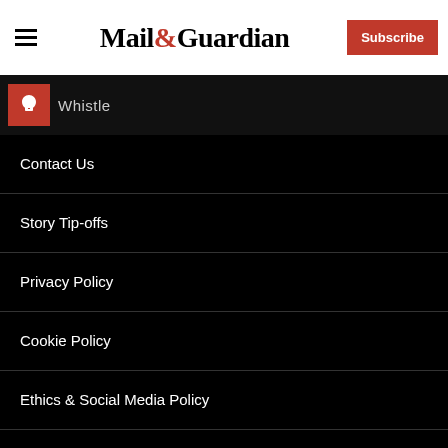Mail&Guardian — Subscribe
[Figure (logo): Whistle blower icon/bar with text 'Whistle']
Contact Us
Story Tip-offs
Privacy Policy
Cookie Policy
Ethics & Social Media Policy
About Us
Corrections And Clarifications
Advertising
Terms of Service and Security
Mail & Guardian Jobs
Find property for sale